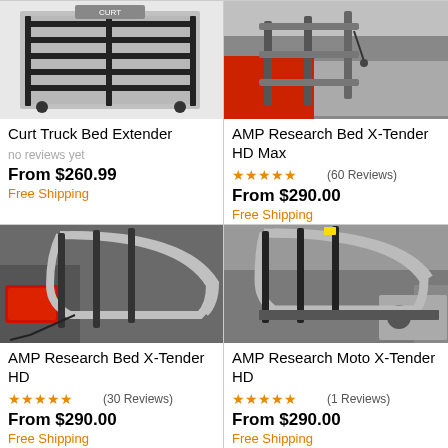[Figure (photo): Curt Truck Bed Extender product photo - black metal rack]
Curt Truck Bed Extender
no reviews yet
From $260.99
Free Shipping
[Figure (photo): AMP Research Bed X-Tender HD Max product photo - red and grey extender]
AMP Research Bed X-Tender HD Max
★★★★★ (60 Reviews)
From $290.00
Free Shipping
[Figure (photo): AMP Research Bed X-Tender HD product photo - silver curved extender on truck]
AMP Research Bed X-Tender HD
★★★★★ (30 Reviews)
From $290.00
Free Shipping
[Figure (photo): AMP Research Moto X-Tender HD product photo - silver curved extender on grey truck]
AMP Research Moto X-Tender HD
★★★★★ (1 Reviews)
From $290.00
Free Shipping